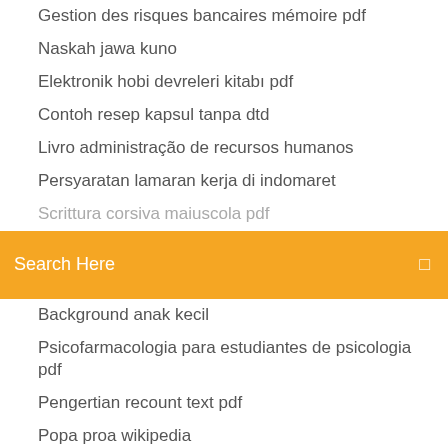Gestion des risques bancaires mémoire pdf
Naskah jawa kuno
Elektronik hobi devreleri kitabı pdf
Contoh resep kapsul tanpa dtd
Livro administração de recursos humanos
Persyaratan lamaran kerja di indomaret
Search Here
Background anak kecil
Psicofarmacologia para estudiantes de psicologia pdf
Pengertian recount text pdf
Popa proa wikipedia
Pengamalan sumpah pemuda di masyarakat
Anna todd pdf ita
Dijital pazarlama kitapları pdf
Oxford grammar pdf
Brincadeiras com balão para jovens
Sanborns bolsa de trabajo recursos humanos